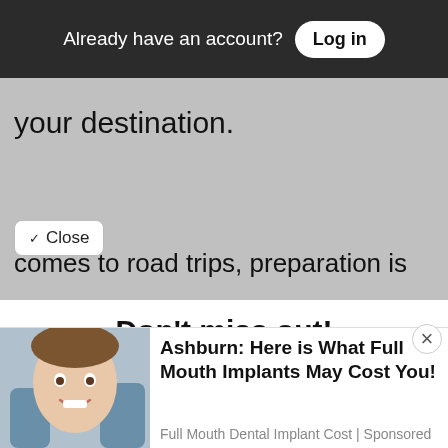Already have an account? Log in
your destination.
Close
comes to road trips, preparation is
Don't miss out!
Everything Southern Maryland, in your inbox each a.m.
Free Newsletters 1
Daily Digest
A roundup of the latest news
Ashburn: Here is What Full Mouth Implants May Cost You! Full Mouth Dental Implant Cost | Sponsored